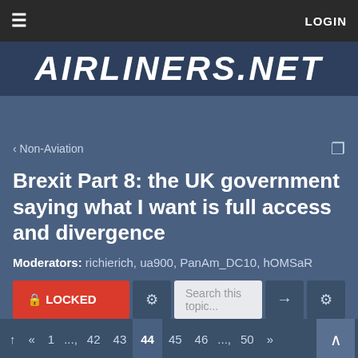≡   LOGIN
[Figure (logo): AIRLINERS.NET logo in white italic bold text on dark blue background]
< Non-Aviation
Brexit Part 8: the UK government saying what I want is full access and divergence
Moderators: richierich, ua900, PanAm_DC10, hOMSaR
🔒 LOCKED   ⚙   Search this topic...   →   ⚙
↑  «  1  ...  42  43  44  45  46  ...  50  »
94717